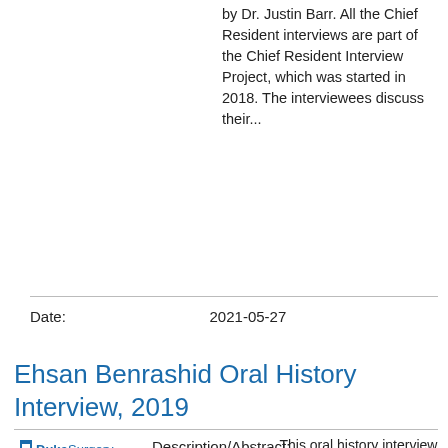by Dr. Justin Barr. All the Chief Resident interviews are part of the Chief Resident Interview Project, which was started in 2018. The interviewees discuss their...
|  |  |
| --- | --- |
| Date: | 2021-05-27 |
Ehsan Benrashid Oral History Interview, 2019
[Figure (logo): Duke Surgery - Duke University School of Medicine logo]
Description/Abstract:
This oral history interview with